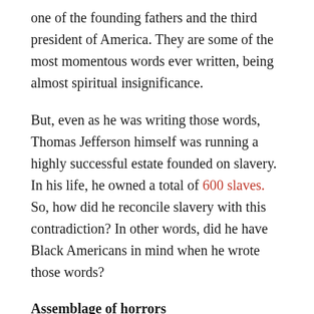one of the founding fathers and the third president of America. They are some of the most momentous words ever written, being almost spiritual insignificance.
But, even as he was writing those words, Thomas Jefferson himself was running a highly successful estate founded on slavery. In his life, he owned a total of 600 slaves. So, how did he reconcile slavery with this contradiction? In other words, did he have Black Americans in mind when he wrote those words?
Assemblage of horrors
The answer is 'yes.' In Jefferson's original draft, he